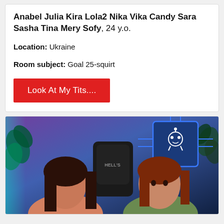Anabel Julia Kira Lola2 Nika Vika Candy Sara Sasha Tina Mery Sofy, 24 y.o.
Location: Ukraine
Room subject: Goal 25-squirt
Look At My Tits....
[Figure (photo): Two young women sitting in front of a gaming setup with purple/blue lighting and a neon chip logo on the wall. A gaming chair with 'HELL'S' branding is visible between them.]